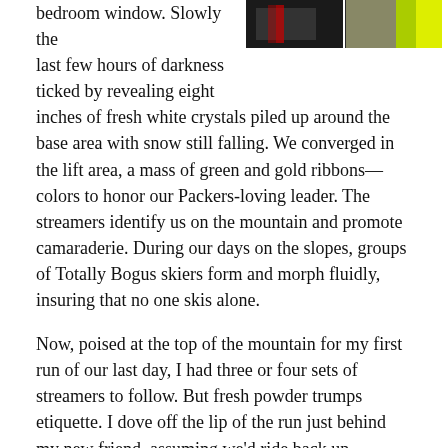[Figure (photo): Two partial photos side by side at the top right corner showing colorful items, one dark and one with green and yellow colors.]
bedroom window. Slowly the last few hours of darkness ticked by revealing eight inches of fresh white crystals piled up around the base area with snow still falling. We converged in the lift area, a mass of green and gold ribbons—colors to honor our Packers-loving leader. The streamers identify us on the mountain and promote camaraderie. During our days on the slopes, groups of Totally Bogus skiers form and morph fluidly, insuring that no one skis alone.
Now, poised at the top of the mountain for my first run of our last day, I had three or four sets of streamers to follow. But fresh powder trumps etiquette. I dove off the lip of the run just behind my new friend, assuming we'd ride back up together on the next run. As I lurched about, adjusting my stance and technique for unaccustomed conditions, my partner shot down the mountain